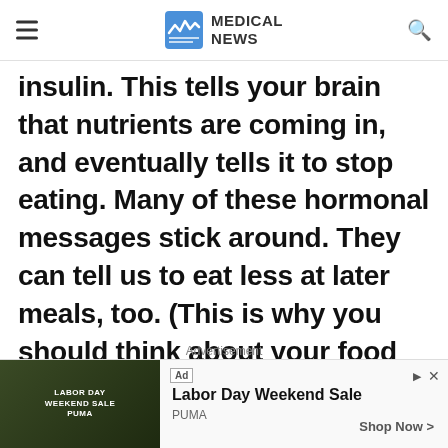MEDICAL NEWS
insulin. This tells your brain that nutrients are coming in, and eventually tells it to stop eating. Many of these hormonal messages stick around. They can tell us to eat less at later meals, too. (This is why you should think about your food choices and eating habits in the long-term — over the course of a day, a few days, or even a week. For instance, a high-protein
[Figure (other): Advertisement banner: PUMA Labor Day Weekend Sale ad with jungle/camo background image on left, text 'Labor Day Weekend Sale' and 'PUMA' brand, 'Shop Now >' button on right]